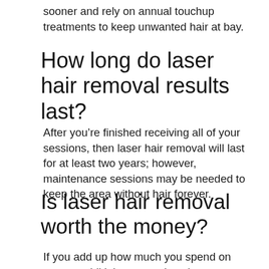sooner and rely on annual touchup treatments to keep unwanted hair at bay.
How long do laser hair removal results last?
After you’re finished receiving all of your sessions, then laser hair removal will last for at least two years; however, maintenance sessions may be needed to keep the area without hair forever.
Is laser hair removal worth the money?
If you add up how much you spend on razors or bikini wax sessions in your lifetime, it